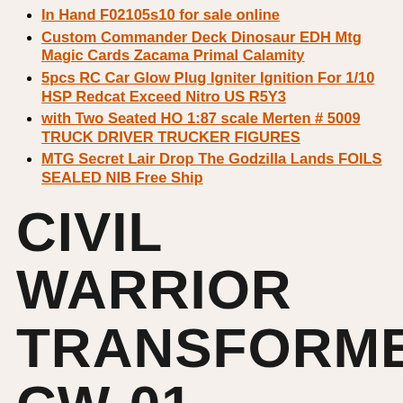In Hand F02105s10 for sale online
Custom Commander Deck Dinosaur EDH Mtg Magic Cards Zacama Primal Calamity
5pcs RC Car Glow Plug Igniter Ignition For 1/10 HSP Redcat Exceed Nitro US R5Y3
with Two Seated HO 1:87 scale Merten # 5009 TRUCK DRIVER TRUCKER FIGURES
MTG Secret Lair Drop The Godzilla Lands FOILS SEALED NIB Free Ship
CIVIL WARRIOR TRANSFORMERS CW-01 OPTIMUS PRIME GENERAL GRANTR ACTION FIGURE TOY
Re-Ment Dollhouse Miniature The Japanese Life Room closet furniture set, Bburago 1/32 Alloy Diecast MINI Cooper Vehicles Red/Green Classic Car Model Gift, Civil Warrior Transformers